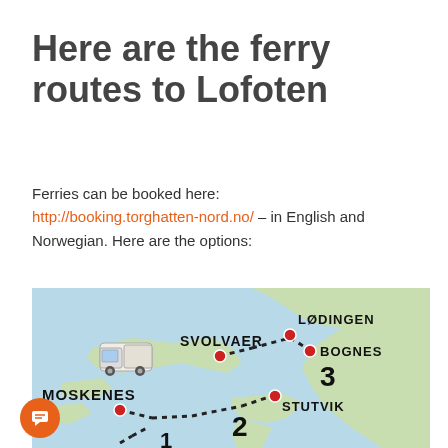Here are the ferry routes to Lofoten
Ferries can be booked here: http://booking.torghatten-nord.no/ – in English and Norwegian. Here are the options:
[Figure (map): Map showing ferry routes to Lofoten islands in Norway. Labels show locations: Moskenes, Svolvaer, Lødingen, Bognes, Stutvik. Routes numbered 1, 2, 3 shown as dotted lines with red dot markers.]